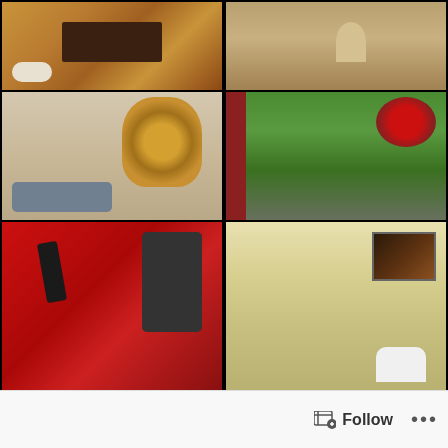[Figure (photo): Grid of 6 photos: top-left living room with dog and coffee table, top-right hallway with small dog and person's feet, middle-left person in leopard costume on bed, middle-right garden with red flowers and fence, bottom-left red door with black iron railing and person peeking, bottom-right bathroom with shower, toilet, and artwork]
Follow ...